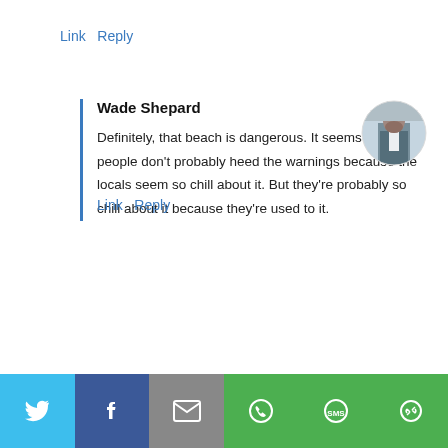Link Reply
Wade Shepard
Definitely, that beach is dangerous. It seems like people don't probably heed the warnings because the locals seem so chill about it. But they're probably so chill about it because they're used to it.
[Figure (photo): Circular profile photo of Wade Shepard, a man in a suit standing in front of a light-colored wall]
Link Reply